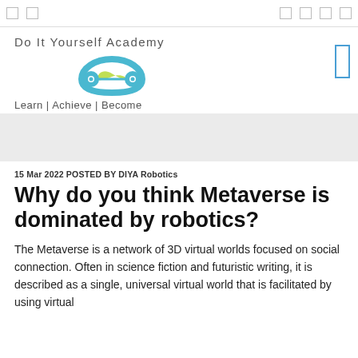Do It Yourself Academy | Learn | Achieve | Become
[Figure (logo): DIYA Robotics logo — a rounded infinity/pretzel shape in blue-green and yellow-green gradient colors]
15 Mar 2022 POSTED BY DIYA Robotics
Why do you think Metaverse is dominated by robotics?
The Metaverse is a network of 3D virtual worlds focused on social connection. Often in science fiction and futuristic writing, it is described as a single, universal virtual world that is facilitated by using virtual